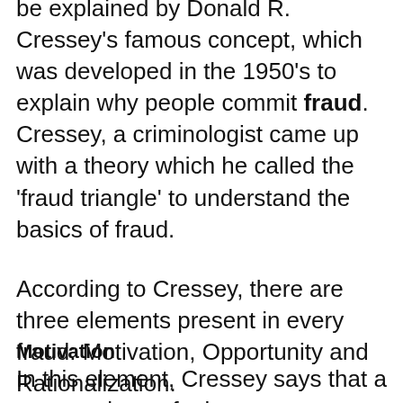be explained by Donald R. Cressey's famous concept, which was developed in the 1950's to explain why people commit fraud. Cressey, a criminologist came up with a theory which he called the 'fraud triangle' to understand the basics of fraud.
According to Cressey, there are three elements present in every fraud: Motivation, Opportunity and Rationalization.
Motivation
In this element, Cressey says that a person always feels pressure or